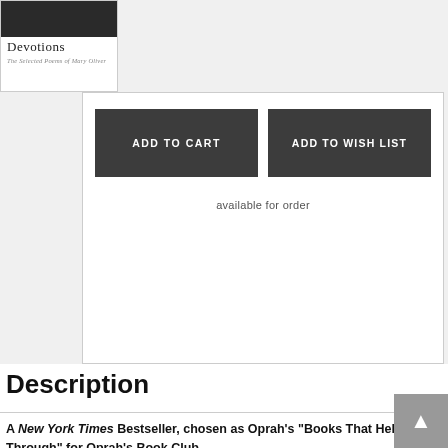[Figure (illustration): Book cover thumbnail for 'Devotions' showing a dark image at top with title text below]
ADD TO CART
ADD TO WISH LIST
available for order
Description
A New York Times Bestseller, chosen as Oprah's "Books That Help Me Through" for Oprah's Book Club
“No matter where one starts reading, Devotions offers much to love, from Oliver's exuberant dog poems to selections from the Pulitzer Prize-winning American Primitive, and Dream Work, one of her exceptional collections. Perhaps more important, the luminous writing provides respite from our crazy world and demonstrates how mindfulness can define and